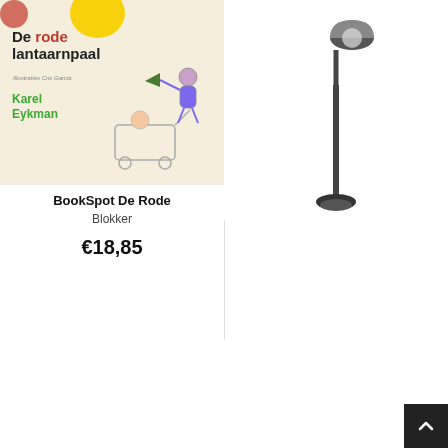[Figure (illustration): Book cover illustration: 'De rode lantaarnpaal' by Karel Eykman, illustrated by Cris Garcia. Shows a child in a shopping cart with others, flying with a flag. Yellow circular element top center.]
BookSpot De Rode
Blokker
€18,85
[Figure (photo): Product photo of VIDAXL Paalverlichting tuin E27 - a black outdoor lamp post on white background. Badge showing '2 shops' at top center.]
VIDAXL Paalverlichting tuin E27
2 webshops
€51,99
51%